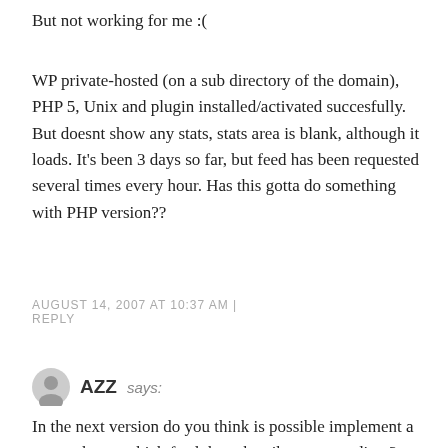But not working for me :(
WP private-hosted (on a sub directory of the domain), PHP 5, Unix and plugin installed/activated succesfully. But doesnt show any stats, stats area is blank, although it loads. It's been 3 days so far, but feed has been requested several times every hour. Has this gotta do something with PHP version??
AUGUST 14, 2007 AT 10:37 AM | REPLY
AZZ says:
In the next version do you think is possible implement a way to know which feed the subscribers are reading ?